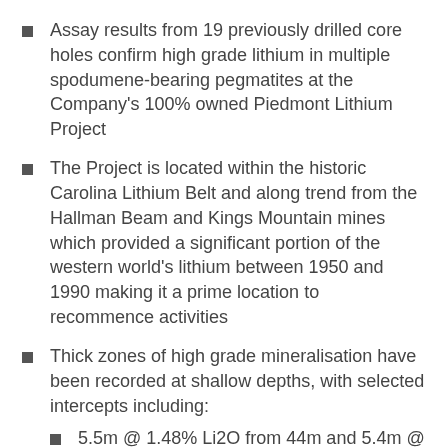Assay results from 19 previously drilled core holes confirm high grade lithium in multiple spodumene-bearing pegmatites at the Company's 100% owned Piedmont Lithium Project
The Project is located within the historic Carolina Lithium Belt and along trend from the Hallman Beam and Kings Mountain mines which provided a significant portion of the western world's lithium between 1950 and 1990 making it a prime location to recommence activities
Thick zones of high grade mineralisation have been recorded at shallow depths, with selected intercepts including:
5.5m @ 1.48% Li2O from 44m and 5.4m @ 1.48% Li2O from 59m (hole 10-BD-18)
6.9m @ 1.62% Li2O from 63m and